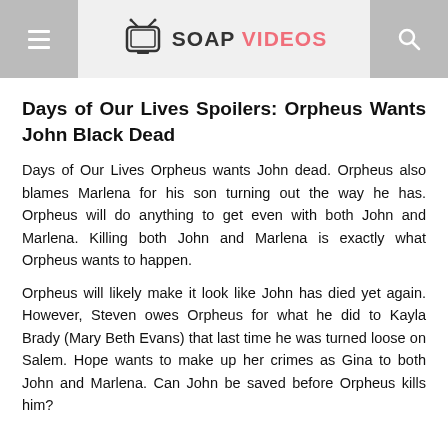TV SOAP VIDEOS
Days of Our Lives Spoilers: Orpheus Wants John Black Dead
Days of Our Lives Orpheus wants John dead. Orpheus also blames Marlena for his son turning out the way he has. Orpheus will do anything to get even with both John and Marlena. Killing both John and Marlena is exactly what Orpheus wants to happen.
Orpheus will likely make it look like John has died yet again. However, Steven owes Orpheus for what he did to Kayla Brady (Mary Beth Evans) that last time he was turned loose on Salem. Hope wants to make up her crimes as Gina to both John and Marlena. Can John be saved before Orpheus kills him?